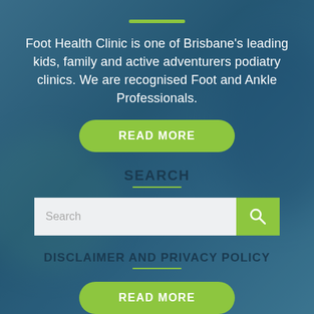[Figure (photo): Blue-tinted background image of a medical/podiatry scene with blurred figures, overlaid with a semi-transparent blue wash. Green decorative element (toy/model foot) visible at bottom left.]
Foot Health Clinic is one of Brisbane's leading kids, family and active adventurers podiatry clinics. We are recognised Foot and Ankle Professionals.
READ MORE
SEARCH
Search
DISCLAIMER AND PRIVACY POLICY
READ MORE